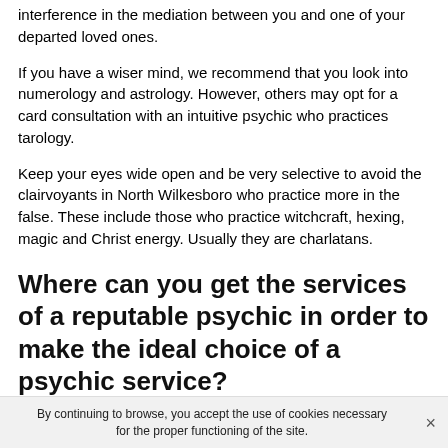interference in the mediation between you and one of your departed loved ones.
If you have a wiser mind, we recommend that you look into numerology and astrology. However, others may opt for a card consultation with an intuitive psychic who practices tarology.
Keep your eyes wide open and be very selective to avoid the clairvoyants in North Wilkesboro who practice more in the false. These include those who practice witchcraft, hexing, magic and Christ energy. Usually they are charlatans.
Where can you get the services of a reputable psychic in order to make the ideal choice of a psychic service?
It is recommended that you get the ideal choice. To b...
By continuing to browse, you accept the use of cookies necessary for the proper functioning of the site.